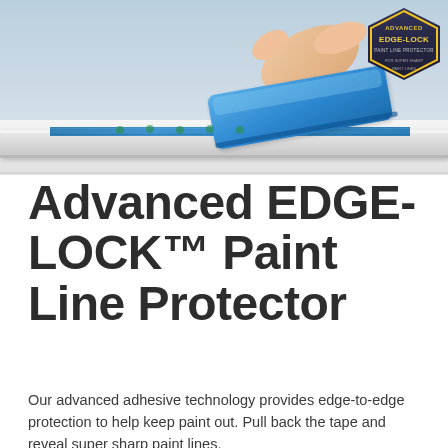[Figure (photo): A hand pressing a blue paint tape applicator tool along a white wall molding. Blue masking tape is visible along the edge. An Advanced EDGE-LOCK badge/logo is visible in the top right corner of the image.]
Advanced EDGE-LOCK™ Paint Line Protector
Our advanced adhesive technology provides edge-to-edge protection to help keep paint out. Pull back the tape and reveal super sharp paint lines.